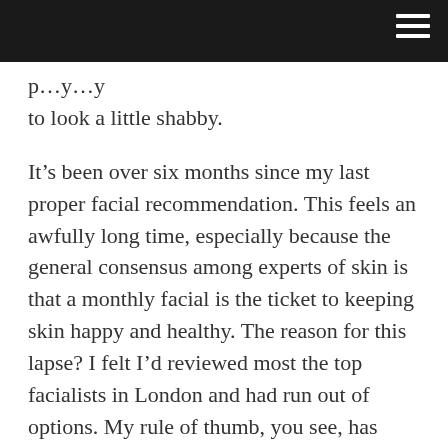p…y…y to look a little shabby.
It’s been over six months since my last proper facial recommendation. This feels an awfully long time, especially because the general consensus among experts of skin is that a monthly facial is the ticket to keeping skin happy and healthy. The reason for this lapse? I felt I’d reviewed most the top facialists in London and had run out of options. My rule of thumb, you see, has always been to seek out the facialist, not the facial, in the belief that you never quite know the level of expertise otherwise. Equally, I feel that facialists who